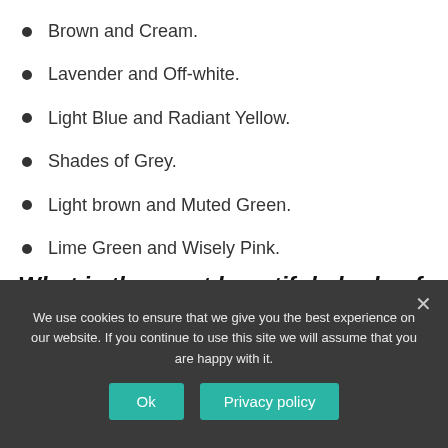Brown and Cream.
Lavender and Off-white.
Light Blue and Radiant Yellow.
Shades of Grey.
Light brown and Muted Green.
Lime Green and Wisely Pink.
Peach and White.
What is the most beautiful shade of green?
We use cookies to ensure that we give you the best experience on our website. If you continue to use this site we will assume that you are happy with it.